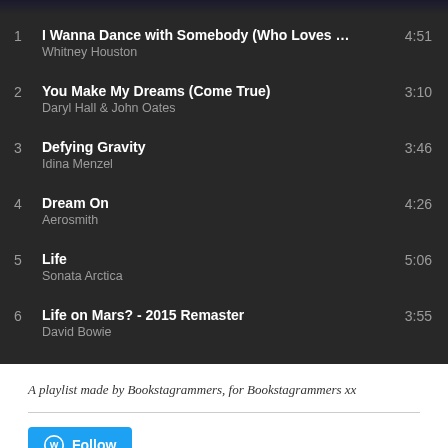[Figure (screenshot): Top partial image strip of a Spotify playlist]
1  I Wanna Dance with Somebody (Who Loves ...  4:51
Whitney Houston
2  You Make My Dreams (Come True)  3:10
Daryl Hall & John Oates
3  Defying Gravity  3:46
Idina Menzel
4  Dream On  4:26
Aerosmith
5  Life  5:06
Sonata Arctica
6  Life on Mars? - 2015 Remaster  3:55
David Bowie
A playlist made by Bookstagrammers, for Bookstagrammers xx
[Figure (logo): WordPress Follow button]